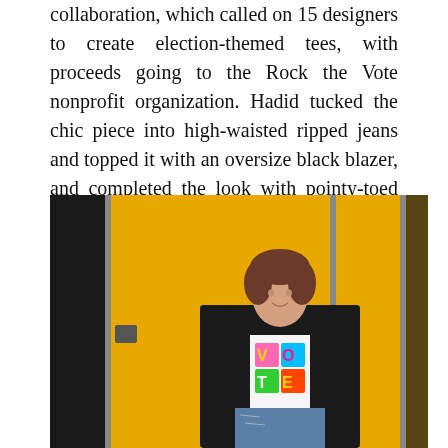collaboration, which called on 15 designers to create election-themed tees, with proceeds going to the Rock the Vote nonprofit organization. Hadid tucked the chic piece into high-waisted ripped jeans and topped it with an oversize black blazer, and completed the look with pointy-toed black boots and a tiny, bright orange purse by Stalvey, according to Vogue.
[Figure (photo): A woman with brown wavy hair wearing a white graphic t-shirt with colorful 'VOTE' lettering, a black oversized blazer, and ripped high-waisted jeans, standing in front of a yellow background with glass panels.]